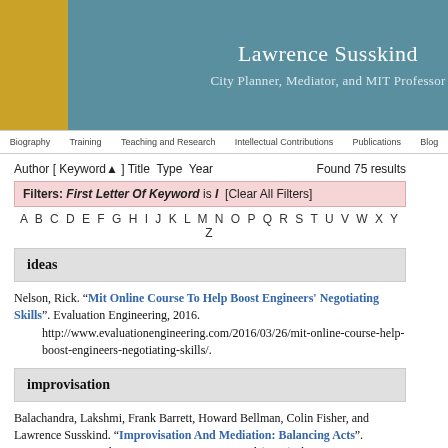Lawrence Susskind
City Planner, Mediator, and MIT Professor
Author [ Keyword ] Title Type Year   Found 75 results
Filters: First Letter Of Keyword is I  [Clear All Filters]
A B C D E F G H I J K L M N O P Q R S T U V W X Y Z
ideas
Nelson, Rick. “Mit Online Course To Help Boost Engineers' Negotiating Skills”. Evaluation Engineering, 2016. http://www.evaluationengineering.com/2016/03/26/mit-online-course-help-boost-engineers-negotiating-skills/.
improvisation
Balachandra, Lakshmi, Frank Barrett, Howard Bellman, Colin Fisher, and Lawrence Susskind. “Improvisation And Mediation: Balancing Acts”. Negotiation Journal 21, no. 4. Negotiation Journal (2005). doi:10.1111/j.1571-